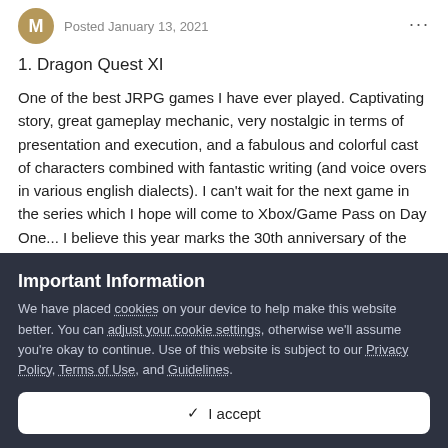Posted January 13, 2021
1. Dragon Quest XI
One of the best JRPG games I have ever played. Captivating story, great gameplay mechanic, very nostalgic in terms of presentation and execution, and a fabulous and colorful cast of characters combined with fantastic writing (and voice overs in various english dialects). I can't wait for the next game in the series which I hope will come to Xbox/Game Pass on Day One... I believe this year marks the 30th anniversary of the series.
Important Information
We have placed cookies on your device to help make this website better. You can adjust your cookie settings, otherwise we'll assume you're okay to continue. Use of this website is subject to our Privacy Policy, Terms of Use, and Guidelines.
✓ I accept